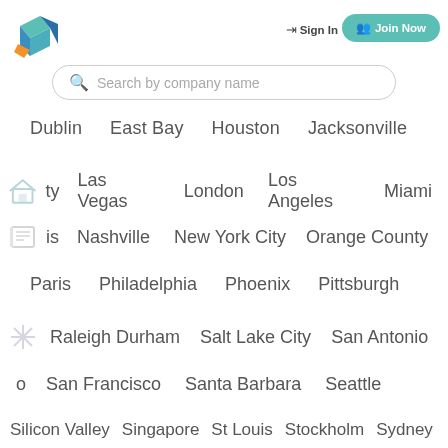[Figure (logo): Colorful geometric logo with teal, blue and orange shapes]
Sign In
Join Now
Search by company name
Dublin   East Bay   Houston   Jacksonville
ty   Las Vegas   London   Los Angeles   Miami
is   Nashville   New York City   Orange County
Paris   Philadelphia   Phoenix   Pittsburgh
Raleigh Durham   Salt Lake City   San Antonio
o   San Francisco   Santa Barbara   Seattle
Silicon Valley   Singapore   St Louis   Stockholm   Sydney